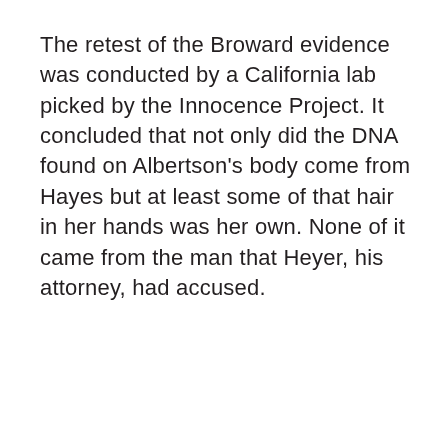The retest of the Broward evidence was conducted by a California lab picked by the Innocence Project. It concluded that not only did the DNA found on Albertson's body come from Hayes but at least some of that hair in her hands was her own. None of it came from the man that Heyer, his attorney, had accused.